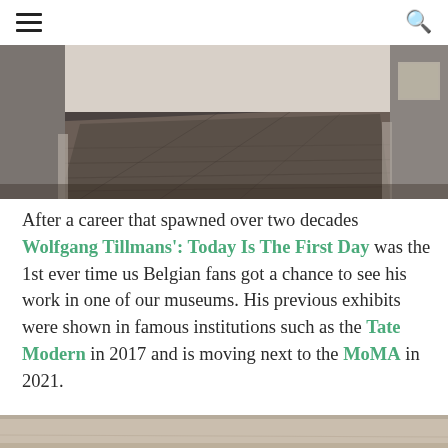≡  🔍
[Figure (photo): Interior of an art gallery showing a dark wood floor and white walls, viewed in perspective.]
After a career that spawned over two decades Wolfgang Tillmans': Today Is The First Day was the 1st ever time us Belgian fans got a chance to see his work in one of our museums. His previous exhibits were shown in famous institutions such as the Tate Modern in 2017 and is moving next to the MoMA in 2021.
[Figure (photo): Bottom portion of a second gallery photo, partially visible.]